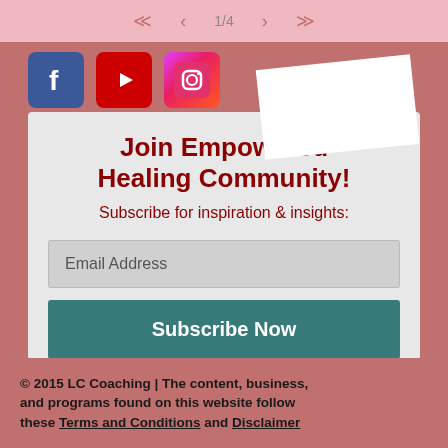1/4
[Figure (logo): Social media icons: Facebook (blue), YouTube (red), Instagram (pink/purple gradient)]
Join Empowered Healing Community!
Subscribe for inspiration & insights:
Email Address
Subscribe Now
[Figure (other): Loading spinner icon (blue arc/letter C shape)]
© 2015 LC Coaching | The content, business, and programs found on this website follow these Terms and Conditions and Disclaimer